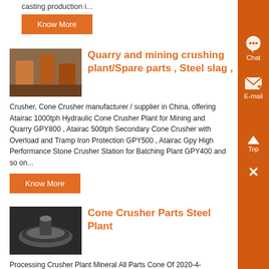casting production i...
Know More
Quarry and mining crushing plant/Spare parts , Steel slag ,
Crusher, Cone Crusher manufacturer / supplier in China, offering Atairac 1000tph Hydraulic Cone Crusher Plant for Mining and Quarry GPY800 , Atairac 500tph Secondary Cone Crusher with Overload and Tramp Iron Protection GPY500 , Atairac Gpy High Performance Stone Crusher Station for Batching Plant GPY400 and so on...
Know More
Cone Crusher Parts Steel Plant
Processing Crusher Plant Mineral All Parts Cone Of 2020-4-16Processing Crusher Plant Mineral All Parts Cone Of Cone Crusher MAINSHAFT The mainshaft is of high grade forged steel annealed for stress relief It is tapered to gauge